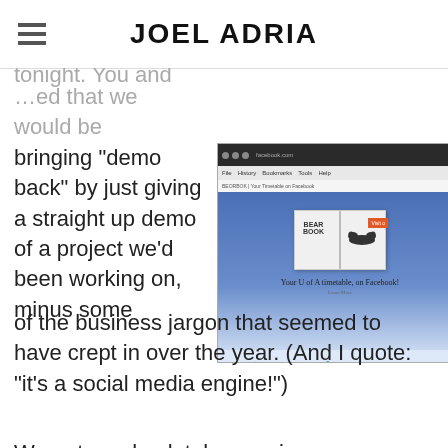JOEL ADRIA
tonight. You and …ed that we would be
bringing “demo back” by just giving a straight up demo of a project we’d been working on, minus some of the business jargon that seemed to have crept in over the year. (And I quote: “it’s a social media engine!”)
[Figure (screenshot): Screenshot of a Facebook page for Bear Book - 'Your U of A timetable, on Facebook!']
We got an absolutely amazing response both …